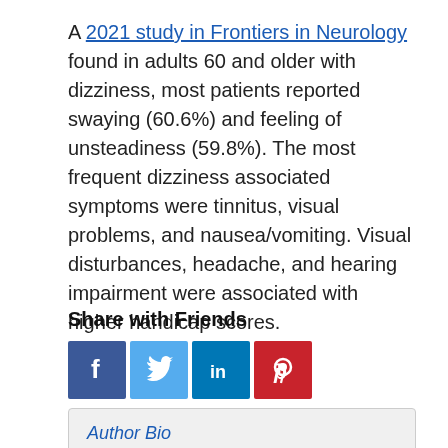A 2021 study in Frontiers in Neurology found in adults 60 and older with dizziness, most patients reported swaying (60.6%) and feeling of unsteadiness (59.8%). The most frequent dizziness associated symptoms were tinnitus, visual problems, and nausea/vomiting. Visual disturbances, headache, and hearing impairment were associated with higher handicap scores.
Share with Friends
[Figure (other): Social media sharing icons: Facebook (dark blue), Twitter (light blue), LinkedIn (dark blue), Pinterest (red)]
Author Bio
Stephen Ornstein, D.C. has treated thousands of neck, shoulder